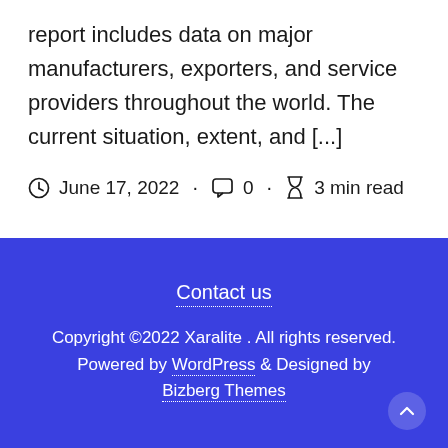report includes data on major manufacturers, exporters, and service providers throughout the world. The current situation, extent, and [...]
June 17, 2022 · 0 · 3 min read
Contact us
Copyright ©2022 Xaralite . All rights reserved.
Powered by WordPress & Designed by Bizberg Themes